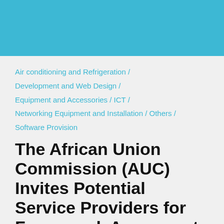[Figure (other): Teal/blue decorative header banner]
Air conditioning and Refrigeration /
Development and Web Design /
Equipment and Accessories / ICT /
Networking Equipment and Installation / Others /
Software Provision
The African Union Commission (AUC) Invites Potential Service Providers for Framework Agreement for...